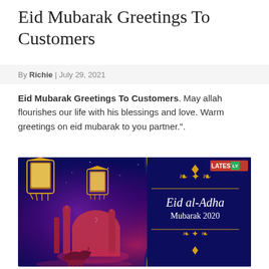Eid Mubarak Greetings To Customers
By Richie | July 29, 2021
Eid Mubarak Greetings To Customers. May allah flourishes our life with his blessings and love. Warm greetings on eid mubarak to you partner.".
[Figure (illustration): Eid al-Adha Mubarak 2020 greeting card image with dark blue background featuring mosque silhouette, hanging lanterns, a goat, and decorative golden border with text 'Eid al-Adha Mubarak 2020'. LATESTLY watermark in top right.]